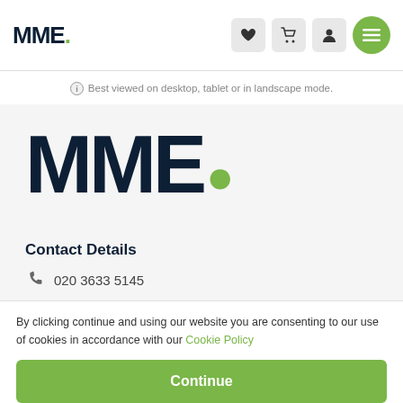MME.
Best viewed on desktop, tablet or in landscape mode.
[Figure (logo): MME. logo with green dot, large format on light grey background]
Contact Details
020 3633 5145
By clicking continue and using our website you are consenting to our use of cookies in accordance with our Cookie Policy